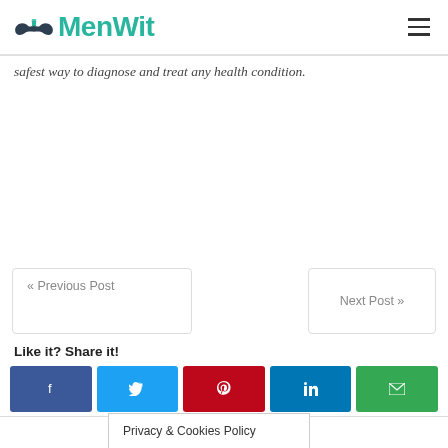MenWit
safest way to diagnose and treat any health condition.
« Previous Post
Next Post »
Like it? Share it!
Privacy & Cookies Policy